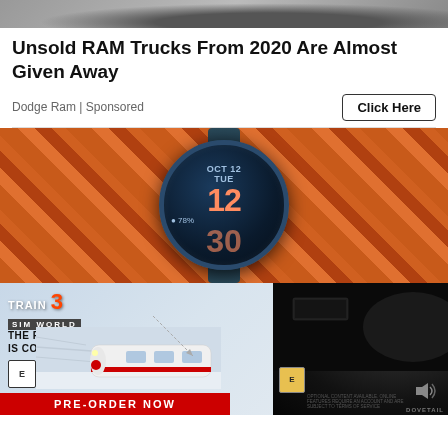[Figure (photo): Top portion of a vehicle (truck wheel/undercarriage area), cropped, grayscale/muted tones]
Unsold RAM Trucks From 2020 Are Almost Given Away
Dodge Ram | Sponsored
Click Here
[Figure (photo): Close-up photo of a smartwatch displaying OCT 12, TUE, 12:30, 78%, on a textured orange/red wooden background]
[Figure (screenshot): Advertisement for Train Sim World 3 game: logo top left, tagline 'THE FUTURE OF TRAIN SIM WORLD IS COMING 6TH SEPTEMBER', image of high-speed train, ESRB E rating, PRE-ORDER NOW red banner, and dark right panel with vehicle interior screenshot, ESRB rating, sound icon, and Dovetail Games logo]